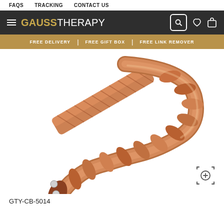FAQS   TRACKING   CONTACT US
GAUSSTHERAPY
FREE DELIVERY  |  FREE GIFT BOX  |  FREE LINK REMOVER
[Figure (photo): Copper magnetic therapy bracelet/bangle with twisted rope design and visible magnets on the open end, shown on white background. Product is a cuff-style bracelet in rose copper color.]
GTY-CB-5014